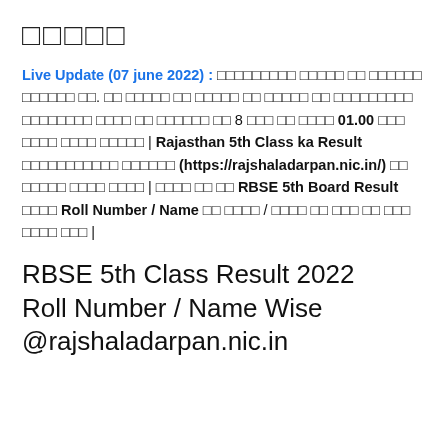□□□□□
Live Update (07 june 2022) : □□□□□□□□□ □□□□□ □□ □□□□□□ □□□□□□ □□. □□ □□□□□ □□ □□□□□ □□ □□□□□ □□ □□□□□□□□□ □□□□□□□□ □□□□ □□ □□□□□□ □□ 8 □□□ □□ □□□□ 01.00 □□□ □□□□ □□□□ □□□□□ | Rajasthan 5th Class ka Result □□□□□□□□□□□ □□□□□□ (https://rajshaladarpan.nic.in/) □□ □□□□□ □□□□ □□□□ | □□□□ □□ □□ RBSE 5th Board Result □□□□ Roll Number / Name □□ □□□□ / □□□□ □□ □□□ □□ □□□ □□□□ □□□ |
RBSE 5th Class Result 2022 Roll Number / Name Wise @rajshaladarpan.nic.in